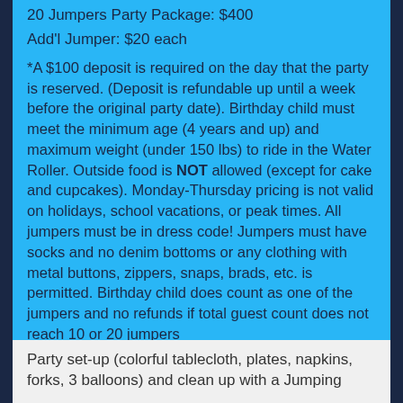20 Jumpers Party Package: $400
Add'l Jumper: $20 each
*A $100 deposit is required on the day that the party is reserved. (Deposit is refundable up until a week before the original party date). Birthday child must meet the minimum age (4 years and up) and maximum weight (under 150 lbs) to ride in the Water Roller. Outside food is NOT allowed (except for cake and cupcakes). Monday-Thursday pricing is not valid on holidays, school vacations, or peak times. All jumpers must be in dress code! Jumpers must have socks and no denim bottoms or any clothing with metal buttons, zippers, snaps, brads, etc. is permitted. Birthday child does count as one of the jumpers and no refunds if total guest count does not reach 10 or 20 jumpers
Party set-up (colorful tablecloth, plates, napkins, forks, 3 balloons) and clean up with a Jumping